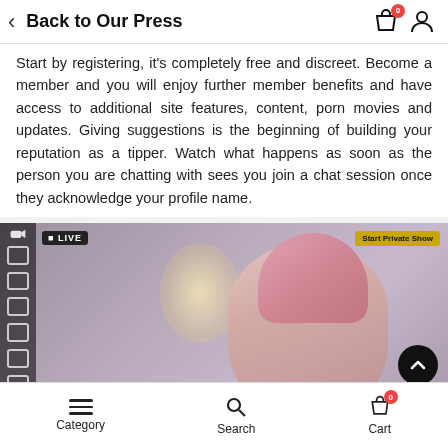Back to Our Press
Start by registering, it's completely free and discreet. Become a member and you will enjoy further member benefits and have access to additional site features, content, porn movies and updates. Giving suggestions is the beginning of building your reputation as a tipper. Watch what happens as soon as the person you are chatting with sees you join a chat session once they acknowledge your profile name.
[Figure (photo): Screenshot of a live webcam chat interface showing a woman with pink hair against a decorative background, with a LIVE badge and Start Private Show button visible.]
Category   Search   Cart